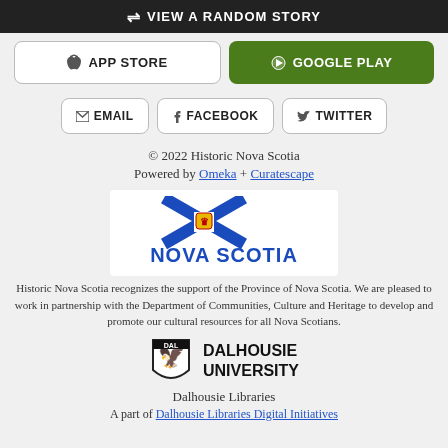VIEW A RANDOM STORY
APP STORE
GOOGLE PLAY
EMAIL
FACEBOOK
TWITTER
© 2022 Historic Nova Scotia
Powered by Omeka + Curatescape
[Figure (logo): Nova Scotia provincial logo with saltire flag and bold blue NOVA SCOTIA text]
Historic Nova Scotia recognizes the support of the Province of Nova Scotia. We are pleased to work in partnership with the Department of Communities, Culture and Heritage to develop and promote our cultural resources for all Nova Scotians.
[Figure (logo): Dalhousie University crest with eagle, beside bold text DALHOUSIE UNIVERSITY]
Dalhousie Libraries
A part of Dalhousie Libraries Digital Initiatives